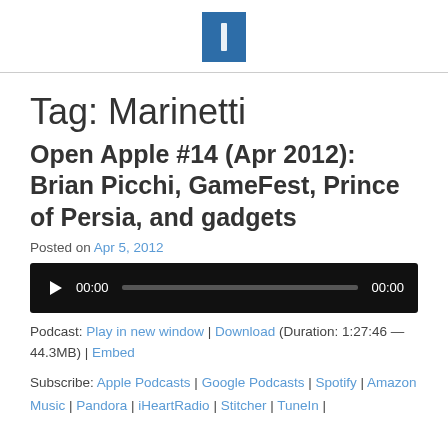[Logo icon]
Tag: Marinetti
Open Apple #14 (Apr 2012): Brian Picchi, GameFest, Prince of Persia, and gadgets
Posted on Apr 5, 2012
[Figure (other): Audio player widget with play button, 00:00 current time, progress bar, 00:00 total time]
Podcast: Play in new window | Download (Duration: 1:27:46 — 44.3MB) | Embed
Subscribe: Apple Podcasts | Google Podcasts | Spotify | Amazon Music | Pandora | iHeartRadio | Stitcher | TuneIn |